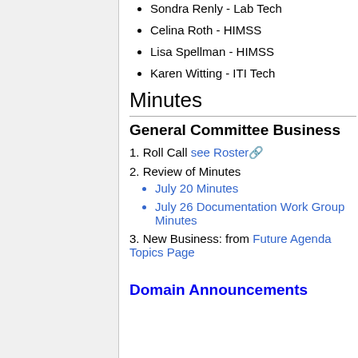Sondra Renly - Lab Tech
Celina Roth - HIMSS
Lisa Spellman - HIMSS
Karen Witting - ITI Tech
Minutes
General Committee Business
1. Roll Call see Roster
2. Review of Minutes
July 20 Minutes
July 26 Documentation Work Group Minutes
3. New Business: from Future Agenda Topics Page
Domain Announcements